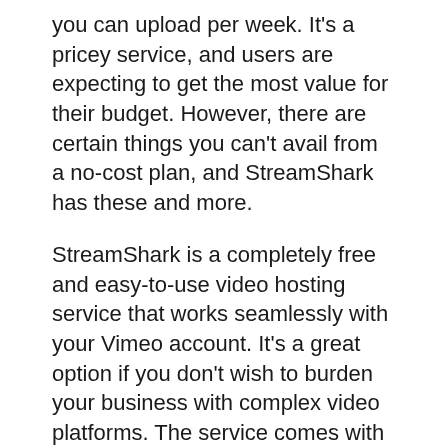you can upload per week. It's a pricey service, and users are expecting to get the most value for their budget. However, there are certain things you can't avail from a no-cost plan, and StreamShark has these and more.
StreamShark is a completely free and easy-to-use video hosting service that works seamlessly with your Vimeo account. It's a great option if you don't wish to burden your business with complex video platforms. The service comes with a no-cost plan for small businesses, but it also comes with premium features, such as white-label streaming and content syndication. You can also use a trial account for 14 days to test how it performs.